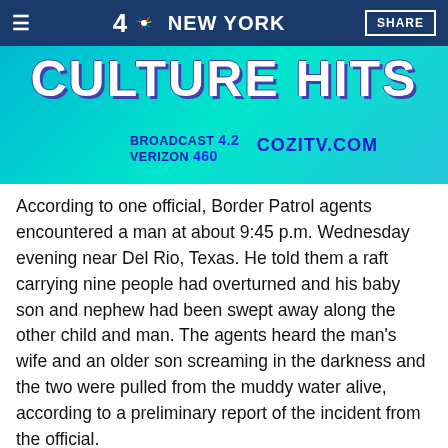≡  4 NBC NEW YORK  SHARE
[Figure (illustration): COZI TV advertisement banner with 'CULTURE HITS' title, BROADCAST 4.2, VERIZON 460, COZITV.COM, teal background with TV show characters]
According to one official, Border Patrol agents encountered a man at about 9:45 p.m. Wednesday evening near Del Rio, Texas. He told them a raft carrying nine people had overturned and his baby son and nephew had been swept away along the other child and man. The agents heard the man's wife and an older son screaming in the darkness and the two were pulled from the muddy water alive, according to a preliminary report of the incident from the official.
Another man and his 13-year-old child were rescued nearby,